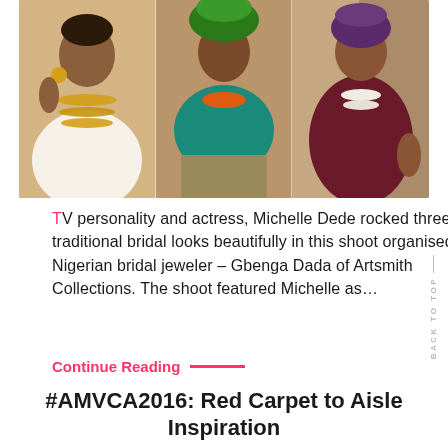[Figure (photo): Three women in traditional Nigerian bridal attire and jewelry. Left woman wears white lace with gold beaded necklaces, center woman wears teal off-shoulder top with orange beaded necklace and green headpiece, right woman wears burgundy dress with white beaded necklace.]
TV personality and actress, Michelle Dede rocked three traditional bridal looks beautifully in this shoot organised by Nigerian bridal jeweler – Gbenga Dada of Artsmith Collections. The shoot featured Michelle as…
Continue Reading ——
#AMVCA2016: Red Carpet to Aisle Inspiration